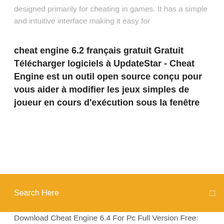designed primarily for cheating in games. It has a simple and intuitive interface making it easy for
cheat engine 6.2 français gratuit Gratuit Télécharger logiciels à UpdateStar - Cheat Engine est un outil open source conçu pour vous aider à modifier les jeux simples de joueur en cours d'exécution sous la fenêtre
Search Here
Download Cheat Engine 6.4 For Pc Full Version Free: daily2soft.com – Download Cheat Engine 6.4 For Pc Full Version Free is a program for gamers. Players who don't want to lose in game can use this software. It is the best software for you. Players who always want victory in game, Even they are good gamers, Then this software is best for Cheat Engine Improved .net data collector (Cheat Engine 6.4). Gets parent classfields as well Improved mono data collector (Cheat Engine 6.4). Adds support for 64-bit and deals with situations where mono.dll is renamed. (Use LaunchMonoDataCollector() or mono_dissect()